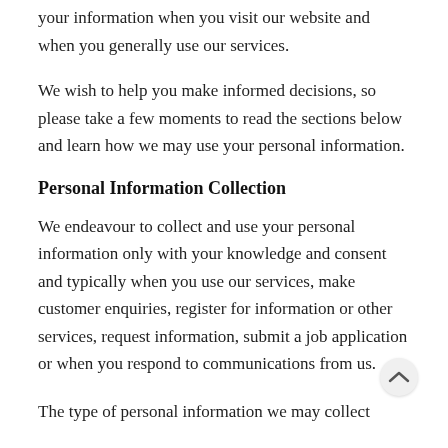your information when you visit our website and when you generally use our services.
We wish to help you make informed decisions, so please take a few moments to read the sections below and learn how we may use your personal information.
Personal Information Collection
We endeavour to collect and use your personal information only with your knowledge and consent and typically when you use our services, make customer enquiries, register for information or other services, request information, submit a job application or when you respond to communications from us.
The type of personal information we may collect